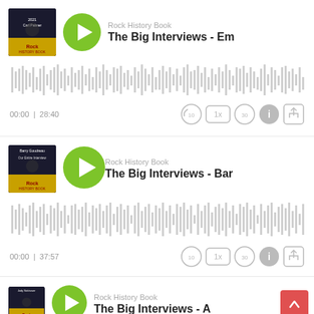[Figure (screenshot): Podcast player card 1: Rock History Book - The Big Interviews - Em..., duration 28:40]
[Figure (screenshot): Podcast player card 2: Rock History Book - The Big Interviews - Bar..., duration 37:57]
[Figure (screenshot): Podcast player card 3 (partial): Rock History Book - The Big Interviews - A...]